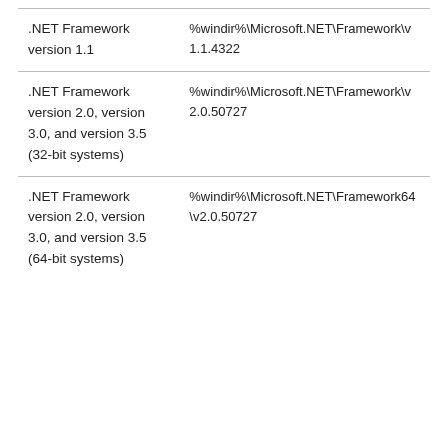| .NET Framework version 1.1 | %windir%\Microsoft.NET\Framework\v1.1.4322 |
| .NET Framework version 2.0, version 3.0, and version 3.5 (32-bit systems) | %windir%\Microsoft.NET\Framework\v2.0.50727 |
| .NET Framework version 2.0, version 3.0, and version 3.5 (64-bit systems) | %windir%\Microsoft.NET\Framework64\v2.0.50727 |